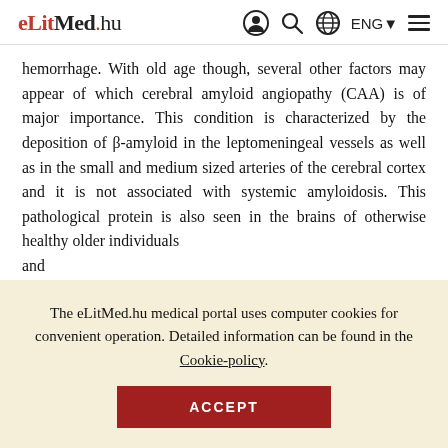eLitMed.hu — navigation bar with user, search, language (ENG), and menu icons
hemorrhage. With old age though, several other factors may appear of which cerebral amyloid angiopathy (CAA) is of major importance. This condition is characterized by the deposition of β-amyloid in the leptomeningeal vessels as well as in the small and medium sized arteries of the cerebral cortex and it is not associated with systemic amyloidosis. This pathological protein is also seen in the brains of otherwise healthy older individuals and ...
The eLitMed.hu medical portal uses computer cookies for convenient operation. Detailed information can be found in the Cookie-policy.
ACCEPT